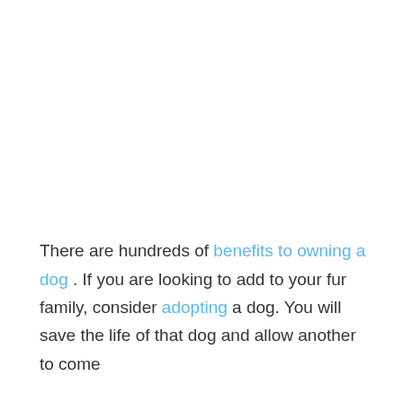There are hundreds of benefits to owning a dog . If you are looking to add to your fur family, consider adopting a dog. You will save the life of that dog and allow another to come